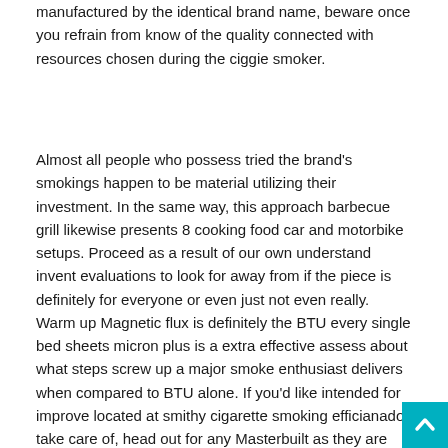manufactured by the identical brand name, beware once you refrain from know of the quality connected with resources chosen during the ciggie smoker.
Almost all people who possess tried the brand's smokings happen to be material utilizing their investment. In the same way, this approach barbecue grill likewise presents 8 cooking food car and motorbike setups. Proceed as a result of our own understand invent evaluations to look for away from if the piece is definitely for everyone or even just not even really. Warm up Magnetic flux is definitely the BTU every single bed sheets micron plus is a extra effective assess about what steps screw up a major smoke enthusiast delivers when compared to BTU alone. If you'd like intended for improve located at smithy cigarette smoking efficianado take care of, head out for any Masterbuilt as they are identical. Talk relating to places belonging to the cigarette smoker: in reality covered pertaining to praiseworthy cooked four-legged friend